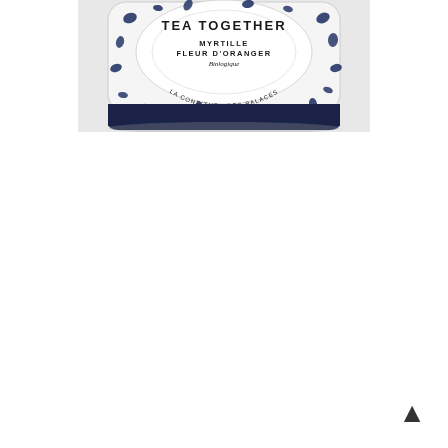[Figure (photo): A jar of 'Tea Together' jam product with white label featuring blue blotch/terrazzo pattern. Label reads: TEA TOGETHER, MYRTILLE FLEUR D'ORANGER, Biologique, LA CONFITURE DES PALACES. The jar has a dark navy/black lid at the bottom.]
[Figure (other): Back-to-top navigation chevron arrow icon pointing upward, dark colored, positioned in the bottom-right corner.]